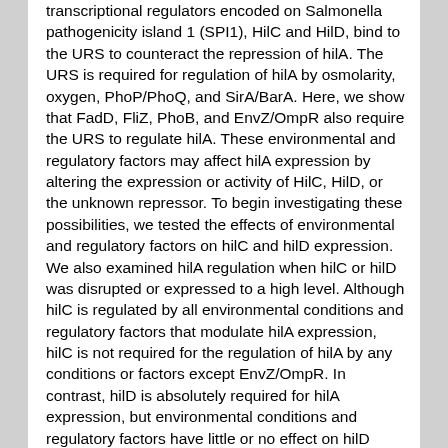transcriptional regulators encoded on Salmonella pathogenicity island 1 (SPI1), HilC and HilD, bind to the URS to counteract the repression of hilA. The URS is required for regulation of hilA by osmolarity, oxygen, PhoP/PhoQ, and SirA/BarA. Here, we show that FadD, FliZ, PhoB, and EnvZ/OmpR also require the URS to regulate hilA. These environmental and regulatory factors may affect hilA expression by altering the expression or activity of HilC, HilD, or the unknown repressor. To begin investigating these possibilities, we tested the effects of environmental and regulatory factors on hilC and hilD expression. We also examined hilA regulation when hilC or hilD was disrupted or expressed to a high level. Although hilC is regulated by all environmental conditions and regulatory factors that modulate hilA expression, hilC is not required for the regulation of hilA by any conditions or factors except EnvZ/OmpR. In contrast, hilD is absolutely required for hilA expression, but environmental conditions and regulatory factors have little or no effect on hilD expression. We speculate that EnvZ/OmpR regulates hilA by altering the expression and/or activity of hilC, while all other regulatory conditions and mutations regulate hilA by modulating hilD posttranscriptionally. We also discuss models in which the regulation of hilA expression is mediated by modulation of the expression or activity of one or more repressors.